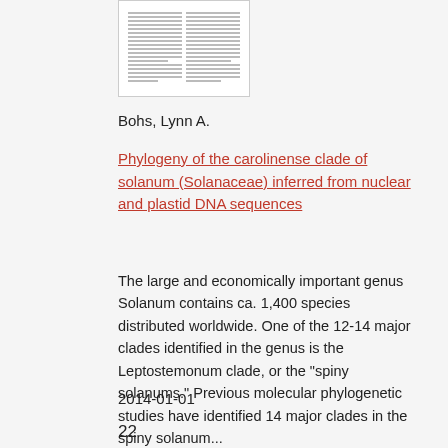[Figure (screenshot): Thumbnail preview of a two-column academic paper document]
Bohs, Lynn A.
Phylogeny of the carolinense clade of solanum (Solanaceae) inferred from nuclear and plastid DNA sequences
The large and economically important genus Solanum contains ca. 1,400 species distributed worldwide. One of the 12-14 major clades identified in the genus is the Leptostemonum clade, or the "spiny solanums." Previous molecular phylogenetic studies have identified 14 major clades in the spiny solanum...
2014-01-01
22